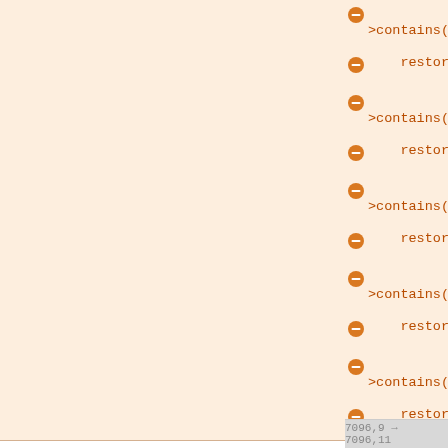else if (ss->contains("SOFT_SHADOW_BLUR_RADIUS"))
restoreSoftShadowBlurRadius(ss, isUndo);
else if (ss->contains("SOFT_SHADOW_XOFFSET"))
restoreSoftShadowXOffset(ss, isUndo);
else if (ss->contains("SOFT_SHADOW_YOFFSET"))
restoreSoftShadowYOffset(ss, isUndo);
else if (ss->contains("SOFT_SHADOW_OPACITY"))
restoreSoftShadowOpacity(ss, isUndo);
else if (ss->contains("SOFT_SHADOW_BLEND_MODE"))
restoreSoftShadowBlendMode(ss, isUndo);
}
if (!OnMasterPage.isEmpty())
m_Doc->setCurrentPage(oldCurrentPage);
7096,9 → 7096,11